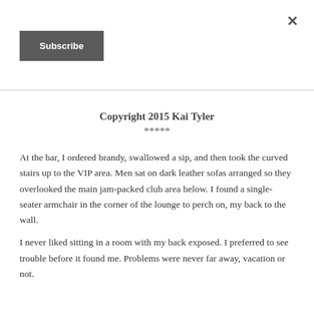×
Subscribe
Copyright 2015 Kai Tyler
*****
At the bar, I ordered brandy, swallowed a sip, and then took the curved stairs up to the VIP area. Men sat on dark leather sofas arranged so they overlooked the main jam-packed club area below. I found a single-seater armchair in the corner of the lounge to perch on, my back to the wall.
I never liked sitting in a room with my back exposed. I preferred to see trouble before it found me. Problems were never far away, vacation or not.